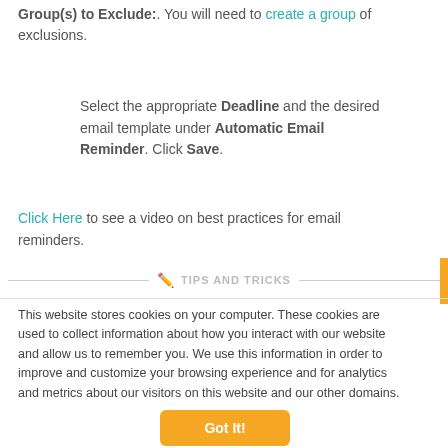Group(s) to Exclude:. You will need to create a group of exclusions.
Select the appropriate Deadline and the desired email template under Automatic Email Reminder. Click Save.
Click Here to see a video on best practices for email reminders.
TIPS AND TRICKS
This website stores cookies on your computer. These cookies are used to collect information about how you interact with our website and allow us to remember you. We use this information in order to improve and customize your browsing experience and for analytics and metrics about our visitors on this website and our other domains.
Got It!